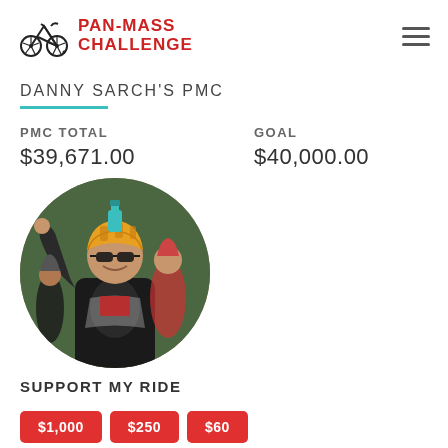PAN-MASS CHALLENGE
DANNY SARCH'S PMC
PMC TOTAL $39,671.00
GOAL $40,000.00
[Figure (photo): Cyclist wearing an orange/yellow helmet and sunglasses, raising one arm while riding, surrounded by other cyclists in a group ride]
SUPPORT MY RIDE
$1,000
$250
$60